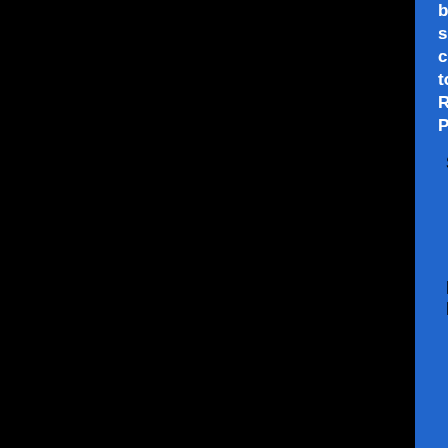bel, roast beel, m... salad. Served w/ our coleslaw, kosher pi... tomatoes, green & b... Russian dressing, a... Person)
Sub Platter - Italian style, kosher style... combination on sandwic...
Mediterranean Combination Platter
Assorted Salad Platter - Your choice o... salad, egg sal... chopped liver... Served w/ our... and assorted... w/ lettuce, tom... olives. ($ 8.45...